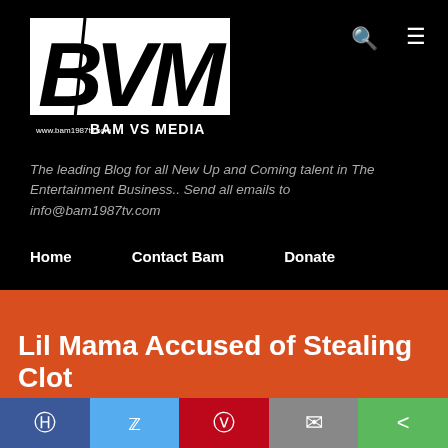[Figure (logo): BVM Bam Vs Media logo on black background with www.bam1987tv.com text]
The leading Blog for all New Up and Coming talent in The Entertainment Business.. Send all emails to info@bam1987tv.com
Home   Contact Bam   Donate
Lil Mama Accused of Stealing Clot...